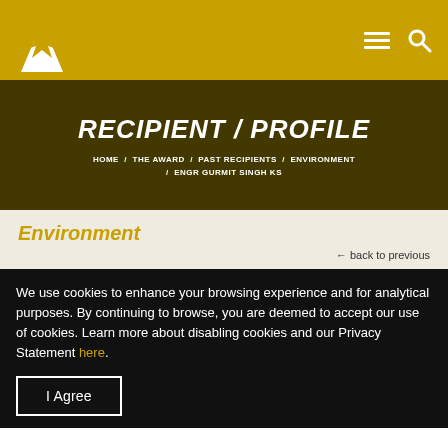RECIPIENT / PROFILE — HOME / THE AWARD / PAST RECIPIENTS / ENVIRONMENT / ENGR GURMIT SINGH KS
RECIPIENT / PROFILE
HOME / THE AWARD / PAST RECIPIENTS / ENVIRONMENT
/ ENGR GURMIT SINGH KS
Environment
← back to previous
We use cookies to enhance your browsing experience and for analytical purposes. By continuing to browse, you are deemed to accept our use of cookies. Learn more about disabling cookies and our Privacy Statement here.
I Agree